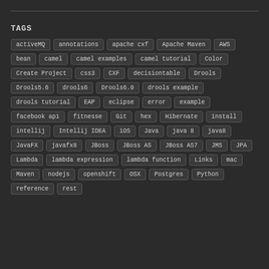TAGS
activeMQ
annotations
apache cxf
Apache Maven
AWS
bean
camel
camel examples
camel tutorial
Color
Create Project
css3
CXF
decisiontable
Drools
Drools5.6
drools6
Drools6.0
drools example
drools tutorial
EAP
eclipse
error
example
facebook api
fitnesse
Git
hex
Hibernate
install
intellij
Intellij IDEA
iOS
Java
java 8
java8
JavaFX
javafx8
JBoss
JBoss AS
JBoss AS7
JMS
JPA
Lambda
lambda expression
lambda function
Links
mac
Maven
nodejs
openshift
OSX
Postgres
Python
reference
rest